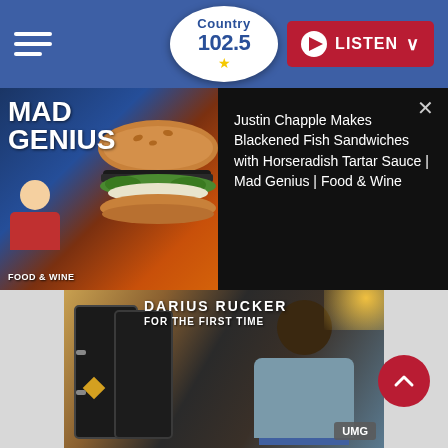Country 102.5 — LISTEN
[Figure (screenshot): Video popup overlay showing Mad Genius / Food & Wine thumbnail on left with a blackened fish sandwich, and on right the title: Justin Chapple Makes Blackened Fish Sandwiches with Horseradish Tartar Sauce | Mad Genius | Food & Wine]
Justin Chapple Makes Blackened Fish Sandwiches with Horseradish Tartar Sauce | Mad Genius | Food & Wine
[Figure (photo): Album cover for Darius Rucker 'For the First Time' showing the artist seated smiling with guitar cases behind him, warm brown tones, UMG label badge in bottom right]